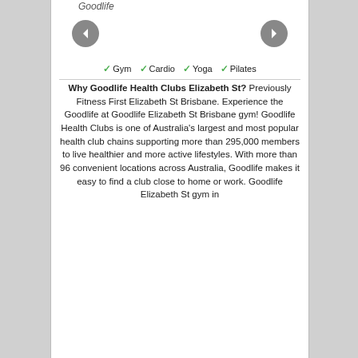Goodlife
Gym
Cardio
Yoga
Pilates
Why Goodlife Health Clubs Elizabeth St? Previously Fitness First Elizabeth St Brisbane. Experience the Goodlife at Goodlife Elizabeth St Brisbane gym! Goodlife Health Clubs is one of Australia's largest and most popular health club chains supporting more than 295,000 members to live healthier and more active lifestyles. With more than 96 convenient locations across Australia, Goodlife makes it easy to find a club close to home or work. Goodlife Elizabeth St gym in